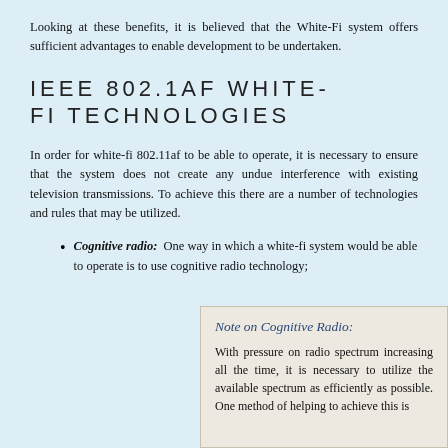Looking at these benefits, it is believed that the White-Fi system offers sufficient advantages to enable development to be undertaken.
IEEE 802.1AF WHITE-FI TECHNOLOGIES
In order for white-fi 802.11af to be able to operate, it is necessary to ensure that the system does not create any undue interference with existing television transmissions. To achieve this there are a number of technologies and rules that may be utilized.
Cognitive radio: One way in which a white-fi system would be able to operate is to use cognitive radio technology;
Note on Cognitive Radio:
With pressure on radio spectrum increasing all the time, it is necessary to utilize the available spectrum as efficiently as possible. One method of helping to achieve this is